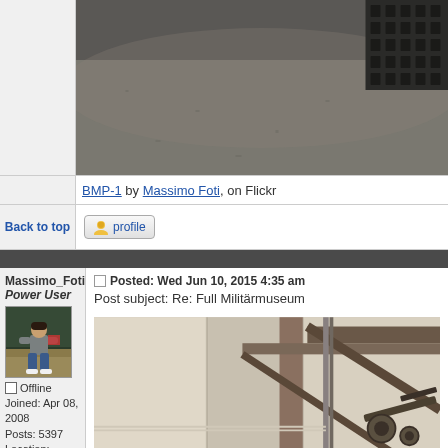[Figure (photo): Partial view of a BMP-1 tank on a gravel/dirt surface, with tank tracks visible at top right]
BMP-1 by Massimo Foti, on Flickr
Back to top
[Figure (other): Profile button with user icon]
Massimo_Foti
Power User
[Figure (photo): Avatar photo of a man sitting on a tank]
Offline
Joined: Apr 08, 2008
Posts: 5397
Location: Lugano, Switzerland
Posted: Wed Jun 10, 2015 4:35 am
Post subject: Re: Full Militärmuseum
[Figure (photo): Interior of Militärmuseum showing structural beams, walls, and military equipment/weapons displayed inside]